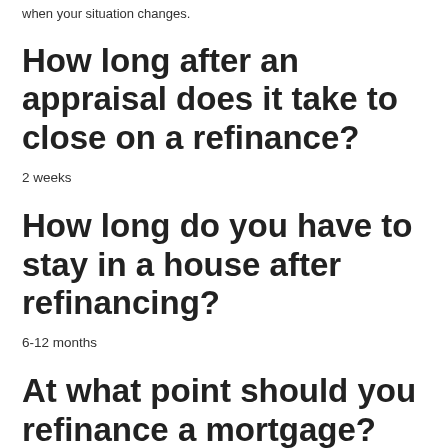when your situation changes.
How long after an appraisal does it take to close on a refinance?
2 weeks
How long do you have to stay in a house after refinancing?
6-12 months
At what point should you refinance a mortgage?
One of the best reasons to refinance is to lower the interest rate on your existing loan. Historically, the rule of thumb is that refinancing is a good idea if you can reduce your interest rate by at least 2%